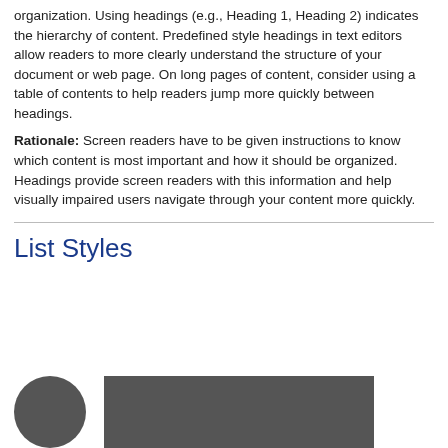organization. Using headings (e.g., Heading 1, Heading 2) indicates the hierarchy of content. Predefined style headings in text editors allow readers to more clearly understand the structure of your document or web page. On long pages of content, consider using a table of contents to help readers jump more quickly between headings.
Rationale: Screen readers have to be given instructions to know which content is most important and how it should be organized. Headings provide screen readers with this information and help visually impaired users navigate through your content more quickly.
List Styles
[Figure (photo): A dark circular image on the left and a dark rectangular image on the right, partially visible at the bottom of the page.]